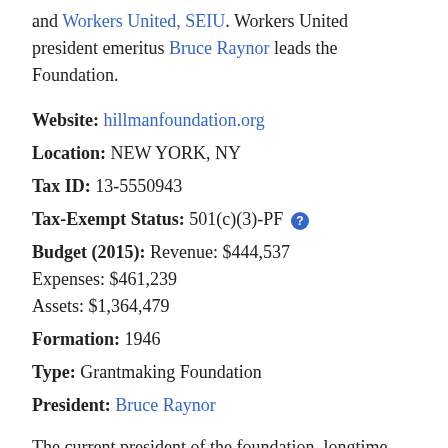and Workers United, SEIU. Workers United president emeritus Bruce Raynor leads the Foundation.
Website: hillmanfoundation.org
Location: NEW YORK, NY
Tax ID: 13-5550943
Tax-Exempt Status: 501(c)(3)-PF
Budget (2015): Revenue: $444,537 Expenses: $461,239 Assets: $1,364,479
Formation: 1946
Type: Grantmaking Foundation
President: Bruce Raynor
The current president of the foundation, longtime controversial labor union leader Bruce Raynor, has faced criticism from union activists for his actions surrounding the creation and the later dissolution of the merger into Unite Here of his own